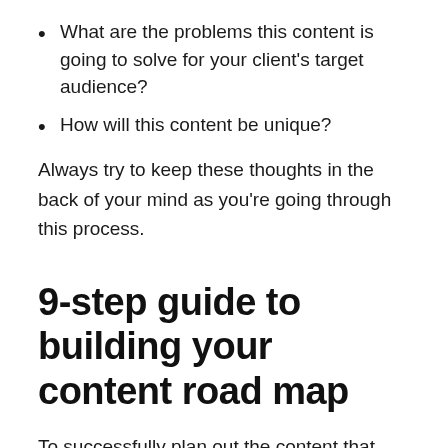What are the problems this content is going to solve for your client's target audience?
How will this content be unique?
Always try to keep these thoughts in the back of your mind as you're going through this process.
9-step guide to building your content road map
To successfully plan out the content that you want to produce, use the following process to